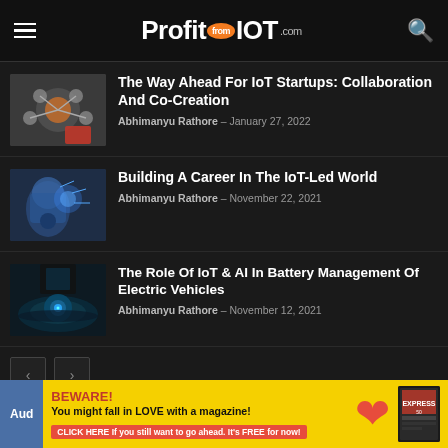ProfitfromIOT.com
The Way Ahead For IoT Startups: Collaboration And Co-Creation
Abhimanyu Rathore - January 27, 2022
Building A Career In The IoT-Led World
Abhimanyu Rathore - November 22, 2021
The Role Of IoT & AI In Battery Management Of Electric Vehicles
Abhimanyu Rathore - November 12, 2021
[Figure (other): Pagination controls with left and right arrow buttons]
[Figure (other): Advertisement banner: BEWARE! You might fall in LOVE with a magazine! CLICK HERE. If you still want to go ahead. It's FREE for now!]